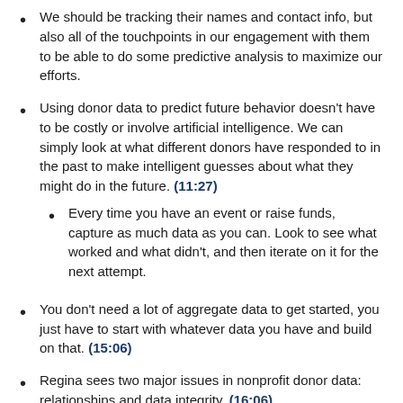We should be tracking their names and contact info, but also all of the touchpoints in our engagement with them to be able to do some predictive analysis to maximize our efforts.
Using donor data to predict future behavior doesn't have to be costly or involve artificial intelligence. We can simply look at what different donors have responded to in the past to make intelligent guesses about what they might do in the future. (11:27)
Every time you have an event or raise funds, capture as much data as you can. Look to see what worked and what didn't, and then iterate on it for the next attempt.
You don't need a lot of aggregate data to get started, you just have to start with whatever data you have and build on that. (15:06)
Regina sees two major issues in nonprofit donor data: relationships and data integrity. (16:06)